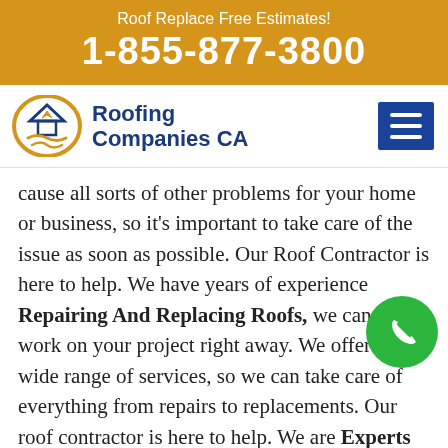Roof Replace Free Estimates!
1-855-877-3800
[Figure (logo): Roofing Companies CA logo with house icon and navigation hamburger menu]
cause all sorts of other problems for your home or business, so it's important to take care of the issue as soon as possible. Our Roof Contractor is here to help. We have years of experience Repairing And Replacing Roofs, we can start work on your project right away. We offer a wide range of services, so we can take care of everything from repairs to replacements. Our roof contractor is here to help. We are Experts in Roof Repair and replacement, and we can have your building back to normal in no time.